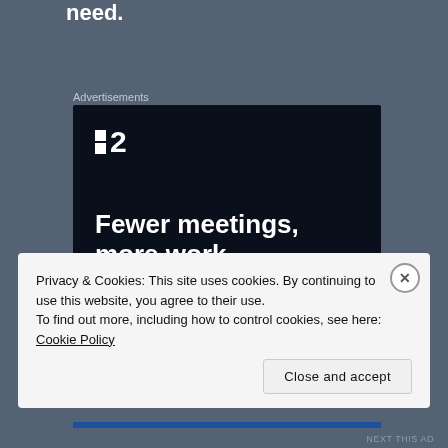need.
Advertisements
[Figure (illustration): Advertisement banner for a project management tool (P2 logo). Dark navy background with white logo showing two small squares and number 2. Tagline: 'Fewer meetings, more work.' with a 'Get started for free' button.]
Privacy & Cookies: This site uses cookies. By continuing to use this website, you agree to their use.
To find out more, including how to control cookies, see here: Cookie Policy
Close and accept